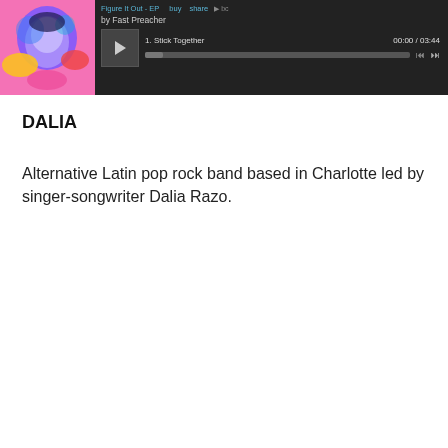[Figure (screenshot): Music player widget with album art on the left showing a colorful illustrated face graphic, and a dark player UI on the right showing 'by Fast Preacher', track '1. Stick Together', time '00:00 / 03:44', play button, and progress bar with controls.]
DALIA
Alternative Latin pop rock band based in Charlotte led by singer-songwriter Dalia Razo.